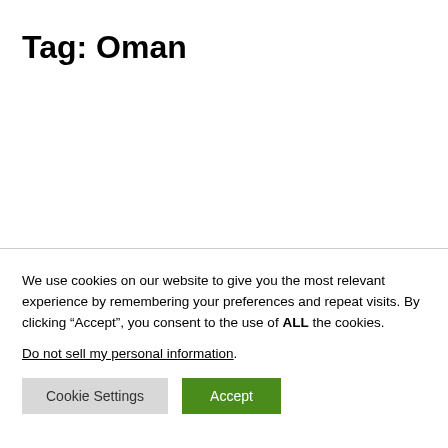Tag: Oman
We use cookies on our website to give you the most relevant experience by remembering your preferences and repeat visits. By clicking “Accept”, you consent to the use of ALL the cookies.
Do not sell my personal information.